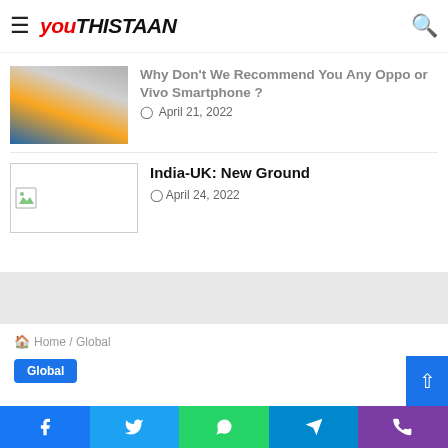Youthistaan
Why Don't We Recommend You Any Oppo or Vivo Smartphone ?
April 21, 2022
India-UK: New Ground
April 24, 2022
Home / Global
Global
Amber Heard-Johnny Depp